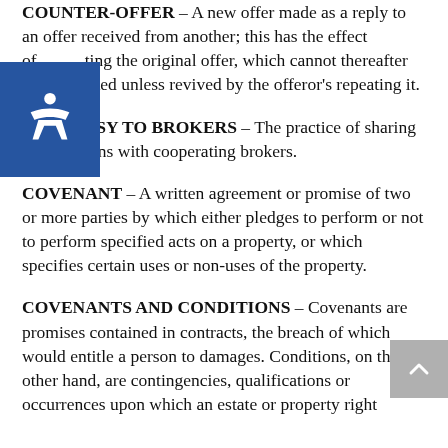COUNTER-OFFER – A new offer made as a reply to an offer received from another; this has the effect of rejecting the original offer, which cannot thereafter be accepted unless revived by the offeror's repeating it.
COURTESY TO BROKERS – The practice of sharing commissions with cooperating brokers.
COVENANT – A written agreement or promise of two or more parties by which either pledges to perform or not to perform specified acts on a property, or which specifies certain uses or non-uses of the property.
COVENANTS AND CONDITIONS – Covenants are promises contained in contracts, the breach of which would entitle a person to damages. Conditions, on the other hand, are contingencies, qualifications or occurrences upon which an estate or property right